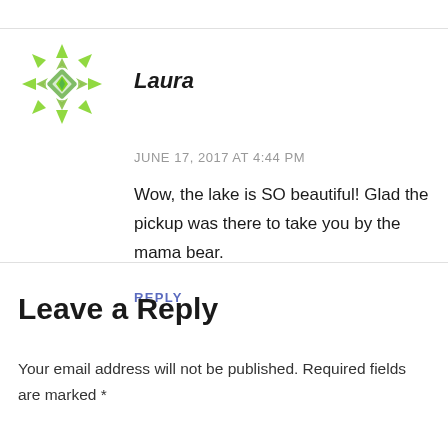[Figure (illustration): Green mandala/snowflake avatar icon for user Laura]
Laura
JUNE 17, 2017 AT 4:44 PM
Wow, the lake is SO beautiful! Glad the pickup was there to take you by the mama bear.
REPLY
Leave a Reply
Your email address will not be published. Required fields are marked *